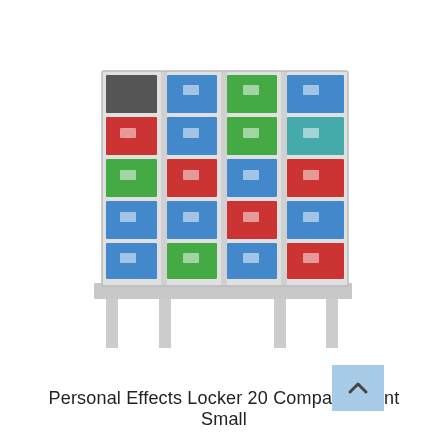[Figure (photo): A personal effects locker unit with 20 small compartments arranged in 4 columns and 5 rows, with colorful doors (red, blue, green, teal) each featuring a small locking mechanism. The unit is mounted on a light grey steel stand with four legs.]
Personal Effects Locker 20 Compartment Small